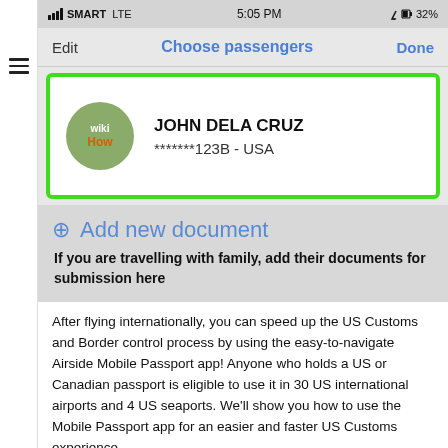[Figure (screenshot): Mobile phone status bar showing SMART LTE signal, 5:05 PM time, and 32% battery]
Edit   Choose passengers   Done
[Figure (screenshot): Passenger card with wikiHow logo avatar showing JOHN DELA CRUZ, *******123B - USA, highlighted with green border]
Add new document
If you are travelling with family, add their documents for submission here
After flying internationally, you can speed up the US Customs and Border control process by using the easy-to-navigate Airside Mobile Passport app! Anyone who holds a US or Canadian passport is eligible to use it in 30 US international airports and 4 US seaports. We'll show you how to use the Mobile Passport app for an easier and faster US Customs experience.